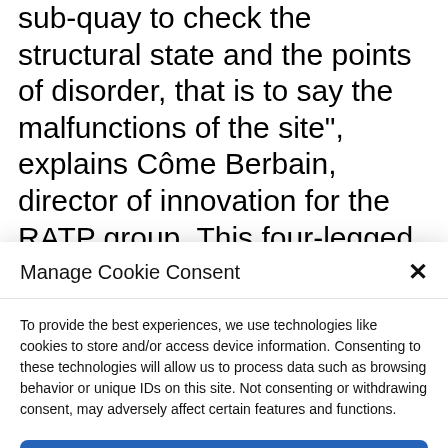sub-quay to check the structural state and the points of disorder, that is to say the malfunctions of the site", explains Côme Berbain, director of innovation for the RATP group. This four-legged robot is also a solution so that "our agents do not damage their backs, do not hit their heads in the galleries, do not damage themselves at all! »
Manage Cookie Consent
To provide the best experiences, we use technologies like cookies to store and/or access device information. Consenting to these technologies will allow us to process data such as browsing behavior or unique IDs on this site. Not consenting or withdrawing consent, may adversely affect certain features and functions.
Accept
Cookie Policy